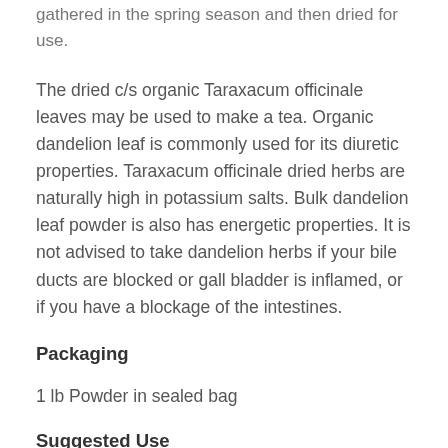gathered in the spring season and then dried for use.
The dried c/s organic Taraxacum officinale leaves may be used to make a tea. Organic dandelion leaf is commonly used for its diuretic properties. Taraxacum officinale dried herbs are naturally high in potassium salts. Bulk dandelion leaf powder is also has energetic properties. It is not advised to take dandelion herbs if your bile ducts are blocked or gall bladder is inflamed, or if you have a blockage of the intestines.
Packaging
1 lb Powder in sealed bag
Suggested Use
Raw herbs do not contain dosage recommendations. We recommend you consult your own herbalist or healthcare provider.